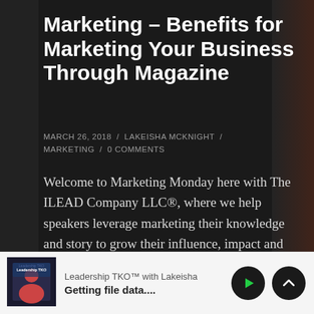Marketing – Benefits for Marketing Your Business Through Magazine
MARCH 26, 2018  /  LAKEISHA MCKNIGHT  /  MARKETING  /  0 COMMENTS
Welcome to Marketing Monday here with The ILEAD Company LLC®, where we help speakers leverage marketing their knowledge and story to grow their influence, impact and income. There are various avenues to choose from when you plot how
Leadership TKO™ with Lakeisha
Getting file data....